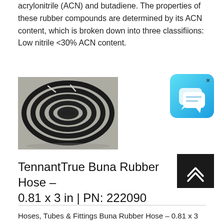acrylonitrile (ACN) and butadiene. The properties of these rubber compounds are determined by its ACN content, which is broken down into three classifiions: Low nitrile <30% ACN content.
[Figure (photo): Photo of a coiled black rubber hose (Buna rubber hose) on a concrete surface]
[Figure (other): Chat widget icon — blue rounded square with speech bubble icon and X close button]
[Figure (other): Scroll-to-top button — dark square with double chevron up arrow]
TennantTrue Buna Rubber Hose – 0.81 x 3 in | PN: 222090
Hoses, Tubes & Fittings Buna Rubber Hose – 0.81 x 3 in 222090 Keep your machine in peak operating condition